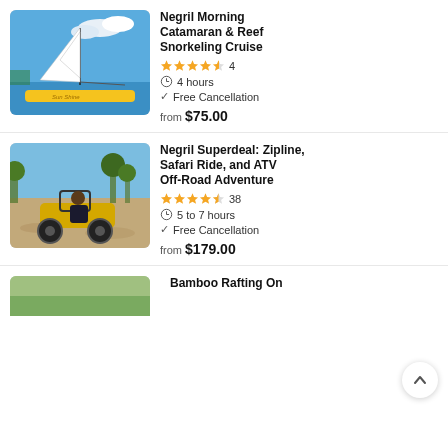[Figure (photo): Yellow catamaran sailboat named Sun Shine on blue water]
Negril Morning Catamaran & Reef Snorkeling Cruise
★★★★½ 4 | 4 hours | Free Cancellation | from $75.00
[Figure (photo): Person driving a yellow ATV off-road vehicle near coast]
Negril Superdeal: Zipline, Safari Ride, and ATV Off-Road Adventure
★★★★½ 38 | 5 to 7 hours | Free Cancellation | from $179.00
Bamboo Rafting On